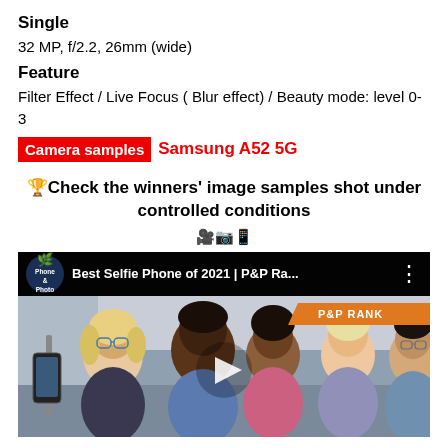Single
32 MP, f/2.2, 26mm (wide)
Feature
Filter Effect / Live Focus ( Blur effect) / Beauty mode: level 0-3
Camera samples Samsung A52 5G
🏆Check the winners' image samples shot under controlled conditions
🎥📷📱
[Figure (screenshot): YouTube video thumbnail showing 'Best Selfie Phone of 2021 | P&P Ra...' with Phone & Photo logo, group of people taking selfie, and P&P RANK orange ribbon badge. Play button visible in center.]